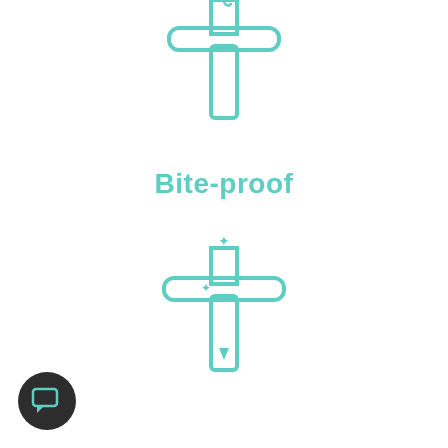[Figure (illustration): A cross/plus-shaped dental floss holder icon in teal/mint color, outline style, shown at the top of the page. The icon has a small bite/tooth mark notch at the top.]
Bite-proof
[Figure (illustration): A cross/plus-shaped dental floss holder icon in teal/mint color, outline style, with sparkle/shine marks indicating cleanliness, shown at the bottom center of the page.]